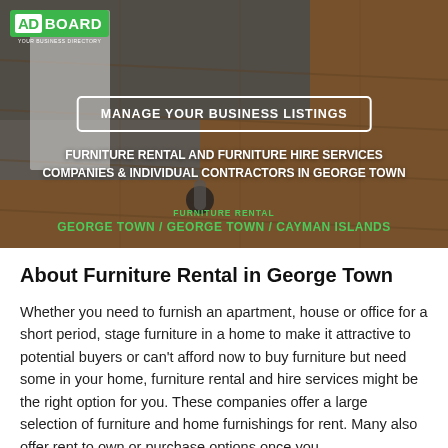[Figure (photo): Hero banner showing furniture legs on a wooden floor, with a gray area on the left. Background for the AdBoard listing page.]
ADBOARD
MANAGE YOUR BUSINESS LISTINGS
FURNITURE RENTAL AND FURNITURE HIRE SERVICES COMPANIES & INDIVIDUAL CONTRACTORS IN GEORGE TOWN
FURNITURE RENTAL
GEORGE TOWN / GEORGE TOWN / CAYMAN ISLANDS
About Furniture Rental in George Town
Whether you need to furnish an apartment, house or office for a short period, stage furniture in a home to make it attractive to potential buyers or can't afford now to buy furniture but need some in your home, furniture rental and hire services might be the right option for you. These companies offer a large selection of furniture and home furnishings for rent. Many also offer rent to own or purchase options once you